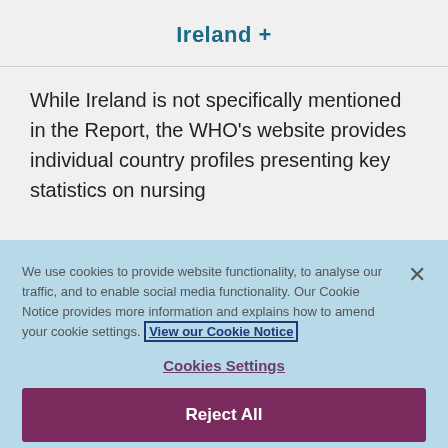Ireland +
While Ireland is not specifically mentioned in the Report, the WHO's website provides individual country profiles presenting key statistics on nursing
We use cookies to provide website functionality, to analyse our traffic, and to enable social media functionality. Our Cookie Notice provides more information and explains how to amend your cookie settings. View our Cookie Notice
Cookies Settings
Reject All
Accept All Cookies